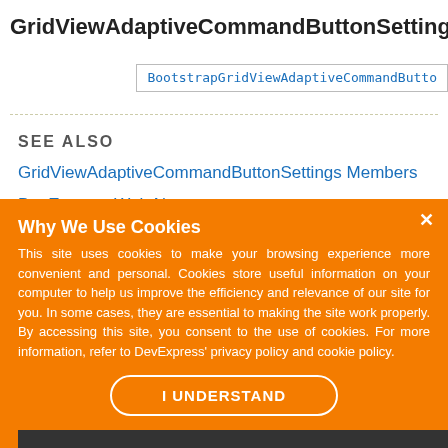GridViewAdaptiveCommandButtonSetting
BootstrapGridViewAdaptiveCommandButto
SEE ALSO
GridViewAdaptiveCommandButtonSettings Members
DevExpress.Web Namespace
Why We Use Cookies
This site uses cookies to make your browsing experience more convenient and personal. Cookies store useful information on your computer to help us improve the efficiency and relevance of our site for you. In some cases, they are essential to making the site work properly. By accessing this site, you consent to the use of cookies. For more information, refer to DevExpress' privacy policy and cookie policy.
I UNDERSTAND